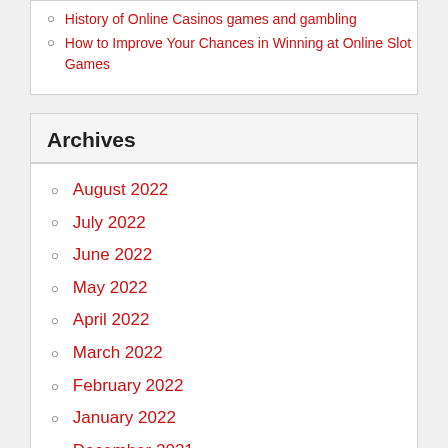History of Online Casinos games and gambling
How to Improve Your Chances in Winning at Online Slot Games
Archives
August 2022
July 2022
June 2022
May 2022
April 2022
March 2022
February 2022
January 2022
December 2021
November 2021
October 2021
September 2021